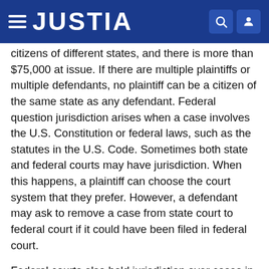JUSTIA
citizens of different states, and there is more than $75,000 at issue. If there are multiple plaintiffs or multiple defendants, no plaintiff can be a citizen of the same state as any defendant. Federal question jurisdiction arises when a case involves the U.S. Constitution or federal laws, such as the statutes in the U.S. Code. Sometimes both state and federal courts may have jurisdiction. When this happens, a plaintiff can choose the court system that they prefer. However, a defendant may ask to remove a case from state court to federal court if it could have been filed in federal court.
Federal courts also hold jurisdiction over cases in certain distinctive areas that are controlled by federal law. These include bankruptcy, patents, copyrights, and admiralty or maritime law. Each district court contains a special bankruptcy court that oversees bankruptcy